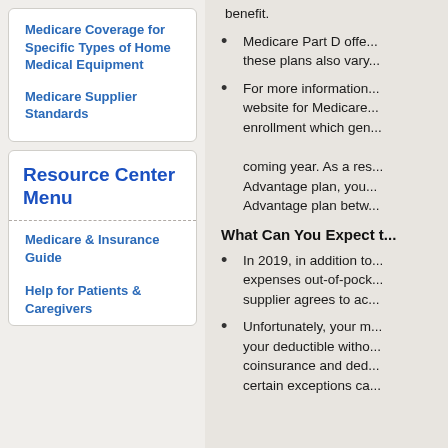Medicare Coverage for Specific Types of Home Medical Equipment
Medicare Supplier Standards
Resource Center Menu
Medicare & Insurance Guide
Help for Patients & Caregivers
benefit.
Medicare Part D offe... these plans also vary...
For more information... website for Medicare... enrollment which gen... coming year. As a res... Advantage plan, you... Advantage plan betw...
What Can You Expect t...
In 2019, in addition to... expenses out-of-pock... supplier agrees to ac...
Unfortunately, your m... your deductible witho... coinsurance and ded... certain exceptions ca...